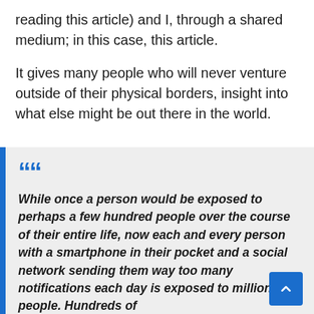reading this article) and I, through a shared medium; in this case, this article.
It gives many people who will never venture outside of their physical borders, insight into what else might be out there in the world.
While once a person would be exposed to perhaps a few hundred people over the course of their entire life, now each and every person with a smartphone in their pocket and a social network sending them way too many notifications each day is exposed to millions of people. Hundreds of millions. On the World...